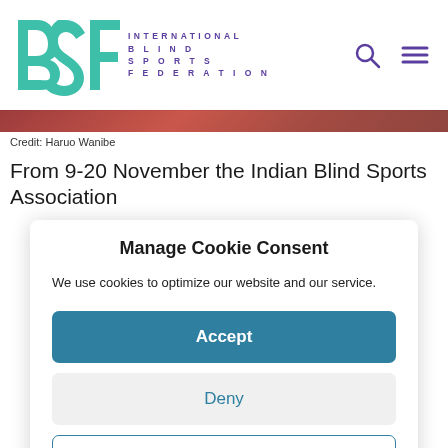[Figure (logo): IBSF International Blind Sports Federation logo with teal stylized letters and purple spaced text]
Credit: Haruo Wanibe
From 9-20 November the Indian Blind Sports Association
Manage Cookie Consent
We use cookies to optimize our website and our service.
Accept
Deny
Preferences